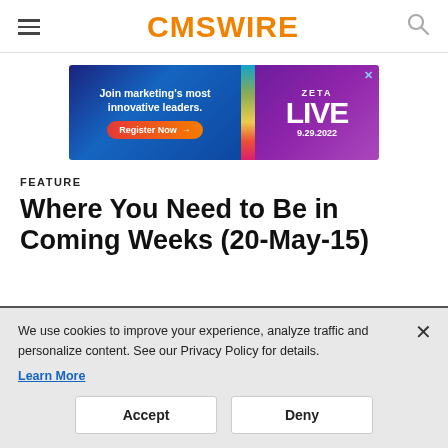CMSWIRE
[Figure (infographic): Advertisement banner for ZETA LIVE 9.29.2022. Left side shows 'Join marketing's most innovative leaders.' with a 'Register Now' button. Right side shows 'ZETA LIVE 9.29.2022' on a purple background.]
FEATURE
Where You Need to Be in Coming Weeks (20-May-15)
We use cookies to improve your experience, analyze traffic and personalize content. See our Privacy Policy for details.
Learn More
Accept   Deny